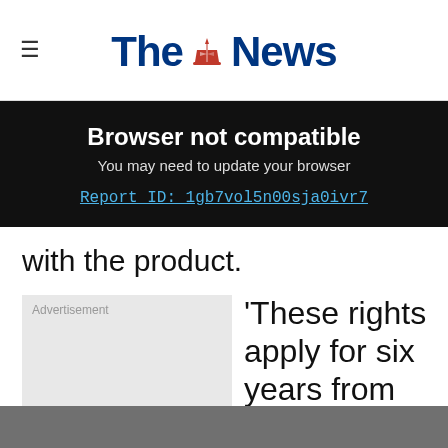The News
Browser not compatible
You may need to update your browser
Report ID: 1gb7vol5n00sja0ivr7
with the product.
Advertisement
'These rights apply for six years from the date of purchase